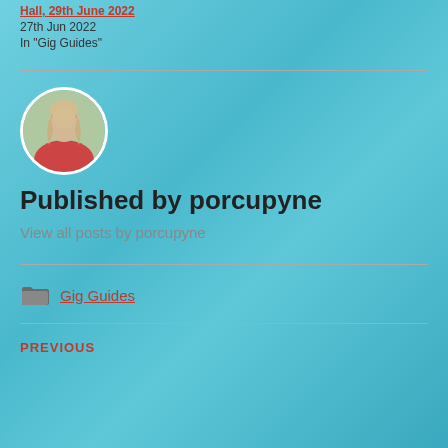Hall, 29th June 2022
27th Jun 2022
In "Gig Guides"
[Figure (photo): Circular avatar photo of a woman with light hair, wearing a red top, outdoors]
Published by porcupyne
View all posts by porcupyne
Gig Guides
PREVIOUS